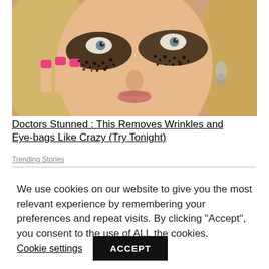[Figure (photo): Blonde woman with dramatic black coffee ground or makeup particles applied under and around her eyes, touching her face with pink-nailed fingers, wearing a dangling earring]
Doctors Stunned : This Removes Wrinkles and Eye-bags Like Crazy (Try Tonight)
Trending Stories
We use cookies on our website to give you the most relevant experience by remembering your preferences and repeat visits. By clicking “Accept”, you consent to the use of ALL the cookies.
Cookie settings
ACCEPT